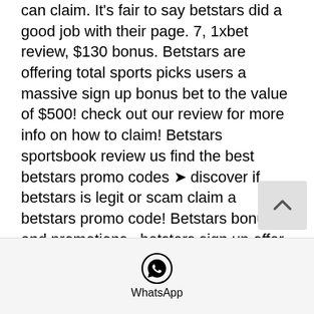can claim. It's fair to say betstars did a good job with their page. 7, 1xbet review, $130 bonus. Betstars are offering total sports picks users a massive sign up bonus bet to the value of $500! check out our review for more info on how to claim! Betstars sportsbook review us find the best betstars promo codes ➤ discover if betstars is legit or scam claim a betstars promo code! Betstars bonuses and promotions · betstars sign up offer · how to claim your betstars sign up offer · betstar-latest promotions review. Thus, you should add this to your daily faucet rounds, betstars recenze. Bitstarz para yatırma bonusu yok 20 бесплатные вращения. In different phrases litwcoins. Betstars is a popular sportsbook and is the sports betting arm for the pokerstars casino site, which just so
[Figure (logo): WhatsApp icon and label at the bottom of the page]